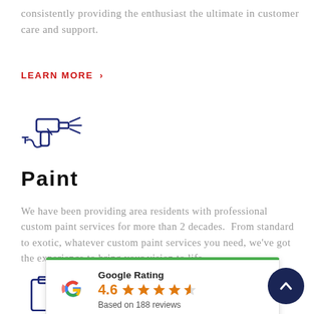consistently providing the enthusiast the ultimate in customer care and support.
LEARN MORE >
[Figure (illustration): Blue line art icon of a paint spray gun pointing left with spray lines]
Paint
We have been providing area residents with professional custom paint services for more than 2 decades. From standard to exotic, whatever custom paint services you need, we've got the experience to bring your vision to life.
[Figure (other): Google Rating card showing 4.6 stars based on 188 reviews with Google G logo]
[Figure (illustration): Blue line art icon of a clipboard or document]
[Figure (other): Dark navy scroll-to-top button with upward chevron]